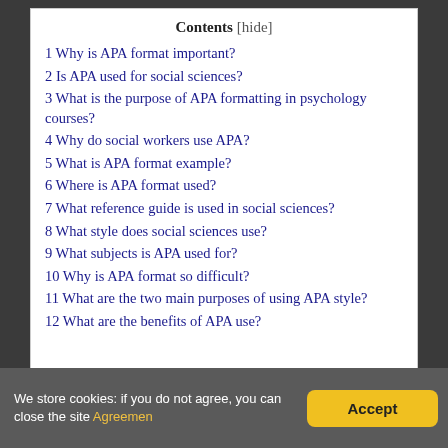Contents [hide]
1 Why is APA format important?
2 Is APA used for social sciences?
3 What is the purpose of APA formatting in psychology courses?
4 Why do social workers use APA?
5 What is APA format example?
6 Where is APA format used?
7 What reference guide is used in social sciences?
8 What style does social sciences use?
9 What subjects is APA used for?
10 Why is APA format so difficult?
11 What are the two main purposes of using APA style?
12 What are the benefits of APA use?
We store cookies: if you do not agree, you can close the site Agreemen